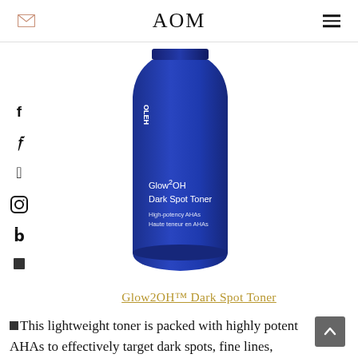AOM
[Figure (photo): A dark blue cylindrical bottle of Ole Henriksen Glow2OH Dark Spot Toner with white text labeling on the bottle]
Glow2OH™ Dark Spot Toner
This lightweight toner is packed with highly potent AHAs to effectively target dark spots, fine lines, wrinkles, and uneven texture. Use it every day after cleansing and before applying the serum to start seeing results. It also gets into the pores to deep cleanse and remove any